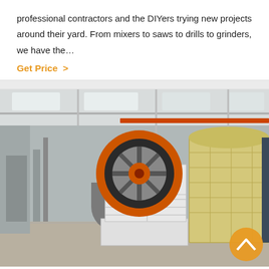professional contractors and the DIYers trying new projects around their yard. From mixers to saws to drills to grinders, we have the…
Get Price >
[Figure (photo): Industrial factory floor showing a large jaw crusher machine in white and orange colors in the foreground, and a yellow impact crusher machine to the right. The factory building has steel structure with skylights overhead.]